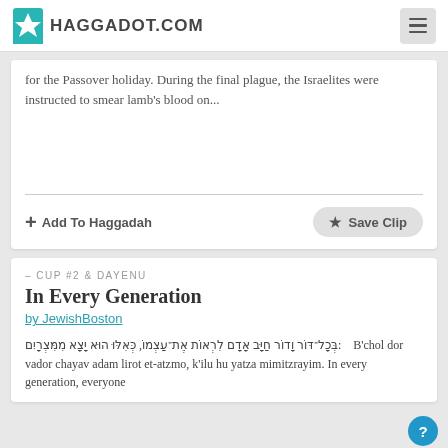HAGGADOT.COM
for the Passover holiday. During the final plague, the Israelites were instructed to smear lamb's blood on...
Add To Haggadah
Save Clip
– CUP #2 & DAYENU
In Every Generation
by JewishBoston
בְּכָל־דּוֹר וָדוֹר חַיָּב אָדָם לִרְאוֹת אֶת־עַצְמוֹ, כְּאִלּוּ הוּא יָצָא מִמִּצְרָיִם:    B'chol dor vador chayav adam lirot et-atzmo, k'ilu hu yatza mimitzrayim. In every generation, everyone